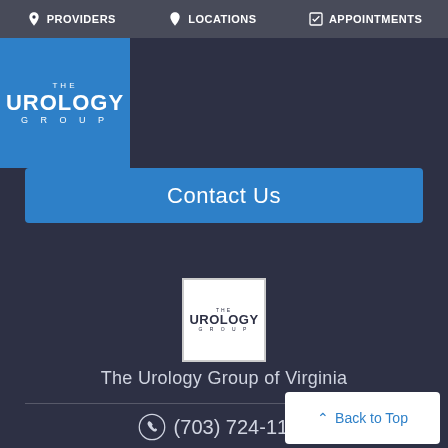PROVIDERS  LOCATIONS  APPOINTMENTS
[Figure (logo): The Urology Group logo - blue square with white text THE UROLOGY GROUP]
Contact Us
[Figure (logo): The Urology Group footer logo - white bordered box with dark text THE UROLOGY GROUP]
The Urology Group of Virginia
(703) 724-1195
Back to Top